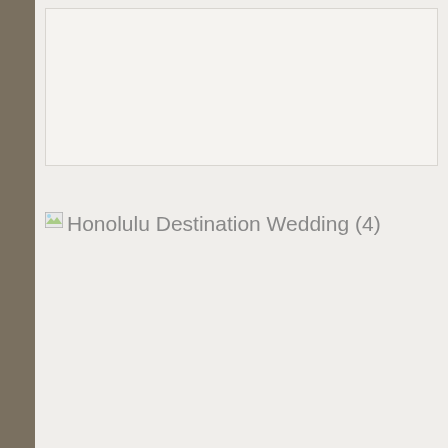[Figure (other): Broken image placeholder for 'Honolulu Destination Wedding (4)' — shows broken image icon and alt text in gray on a light background.]